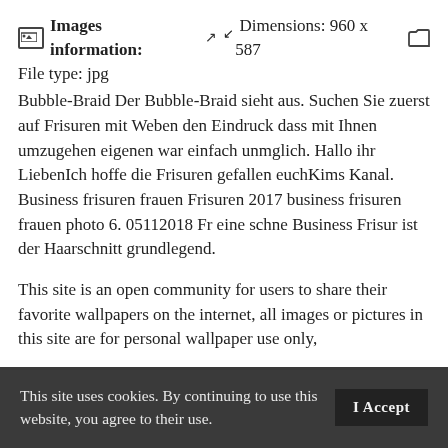Images information: ↗ ↙ Dimensions: 960 x 587 [folder icon] File type: jpg
Bubble-Braid Der Bubble-Braid sieht aus. Suchen Sie zuerst auf Frisuren mit Weben den Eindruck dass mit Ihnen umzugehen eigenen war einfach unmglich. Hallo ihr LiebenIch hoffe die Frisuren gefallen euchKims Kanal. Business frisuren frauen Frisuren 2017 business frisuren frauen photo 6. 05112018 Fr eine schne Business Frisur ist der Haarschnitt grundlegend.
This site is an open community for users to share their favorite wallpapers on the internet, all images or pictures in this site are for personal wallpaper use only,
This site uses cookies. By continuing to use this website, you agree to their use.  I Accept